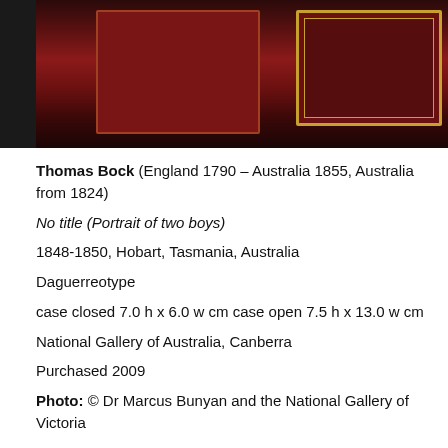[Figure (photo): Photograph of a daguerreotype case showing two red/dark hinged cases, one open displaying a gold-bordered portrait frame, photographed against a dark grey background.]
Thomas Bock (England 1790 – Australia 1855, Australia from 1824)
No title (Portrait of two boys)
1848-1850, Hobart, Tasmania, Australia
Daguerreotype
case closed 7.0 h x 6.0 w cm case open 7.5 h x 13.0 w cm
National Gallery of Australia, Canberra
Purchased 2009
Photo: © Dr Marcus Bunyan and the National Gallery of Victoria